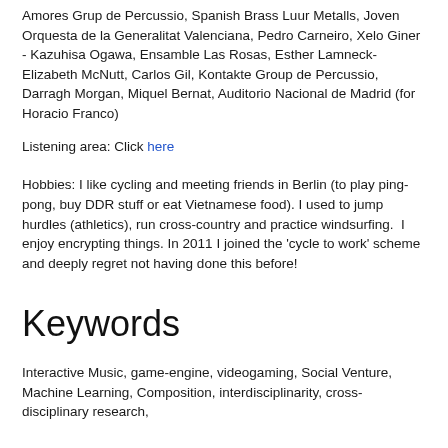Amores Grup de Percussio, Spanish Brass Luur Metalls, Joven Orquesta de la Generalitat Valenciana, Pedro Carneiro, Xelo Giner - Kazuhisa Ogawa, Ensamble Las Rosas, Esther Lamneck- Elizabeth McNutt, Carlos Gil, Kontakte Group de Percussio, Darragh Morgan, Miquel Bernat, Auditorio Nacional de Madrid (for Horacio Franco)
Listening area: Click here
Hobbies: I like cycling and meeting friends in Berlin (to play ping-pong, buy DDR stuff or eat Vietnamese food). I used to jump hurdles (athletics), run cross-country and practice windsurfing.  I enjoy encrypting things. In 2011 I joined the 'cycle to work' scheme and deeply regret not having done this before!
Keywords
Interactive Music, game-engine, videogaming, Social Venture, Machine Learning, Composition, interdisciplinarity, cross-disciplinary research,